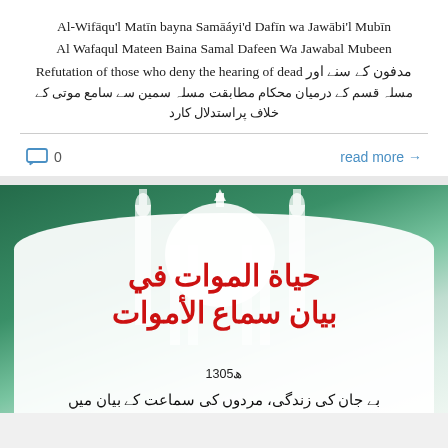Al-Wifāqu'l Matīn bayna Samāáyi'd Dafīn wa Jawābi'l Mubīn
Al Wafaqul Mateen Baina Samal Dafeen Wa Jawabal Mubeen
Refutation of those who deny the hearing of dead مدفون کے سنے اور
مسلہ قسم کے درمیان محکام مطابقت مسلہ سمین سے سامع موتی کے خلاف پراستدلال کارد
0   read more →
[Figure (photo): Book cover showing a mosque/dome architectural illustration in green and white tones. Large red Arabic calligraphy text reads 'حياة الموات في بيان سماع الأموات'. Below that is '1305ه' and Urdu text 'بے جان کی زندگی، مردوں کی سماعت کے بیان میں']